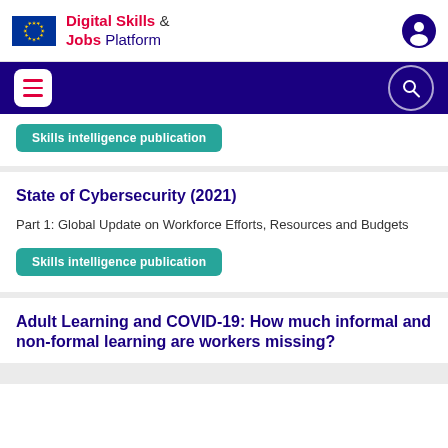Digital Skills & Jobs Platform
Skills intelligence publication
State of Cybersecurity (2021)
Part 1: Global Update on Workforce Efforts, Resources and Budgets
Skills intelligence publication
Adult Learning and COVID-19: How much informal and non-formal learning are workers missing?